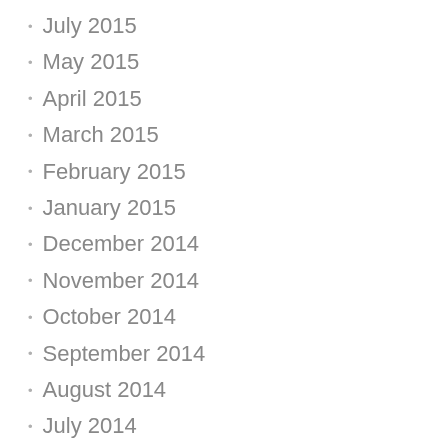July 2015
May 2015
April 2015
March 2015
February 2015
January 2015
December 2014
November 2014
October 2014
September 2014
August 2014
July 2014